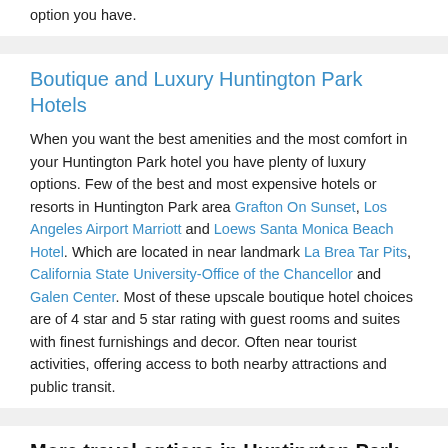option you have.
Boutique and Luxury Huntington Park Hotels
When you want the best amenities and the most comfort in your Huntington Park hotel you have plenty of luxury options. Few of the best and most expensive hotels or resorts in Huntington Park area Grafton On Sunset, Los Angeles Airport Marriott and Loews Santa Monica Beach Hotel. Which are located in near landmark La Brea Tar Pits, California State University-Office of the Chancellor and Galen Center. Most of these upscale boutique hotel choices are of 4 star and 5 star rating with guest rooms and suites with finest furnishings and decor. Often near tourist activities, offering access to both nearby attractions and public transit.
More travel options in Huntington Park
Whether you are traveling to Huntington Park for a romantic getaway, business trip, golf, or a family vacation, Huntington Park has great hotels which can fulfill all your needs. It's important to select the right hotel, motel, or resorts based on your trip goals. When traveling, some amenities can be the decision-maker on your vacation, business trip, or family getaway. Imagine reserving a hotel for a business trip that